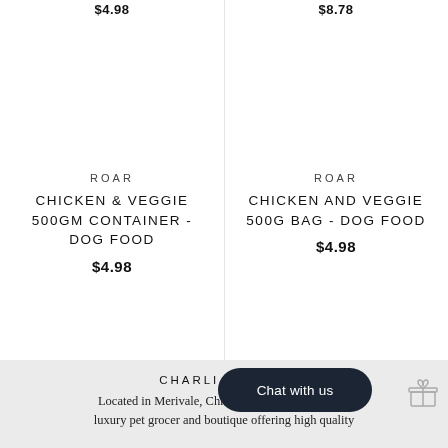$4.98
$8.78
ROAR
CHICKEN & VEGGIE 500GM CONTAINER - DOG FOOD
$4.98
ROAR
CHICKEN AND VEGGIE 500G BAG - DOG FOOD
$4.98
CHARLI & COCO
Located in Merivale, Christchurch, Charli & Coco luxury pet grocer and boutique offering high quality